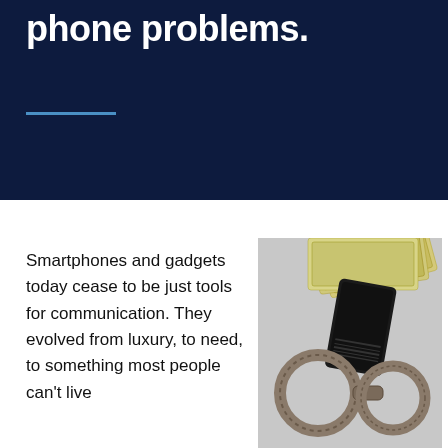phone problems.
Smartphones and gadgets today cease to be just tools for communication. They evolved from luxury, to need, to something most people can't live
[Figure (photo): Handcuffs, cash bills (US dollars), and a mobile phone arranged together on a gray surface, suggesting criminal activity or legal issues related to phones and money.]